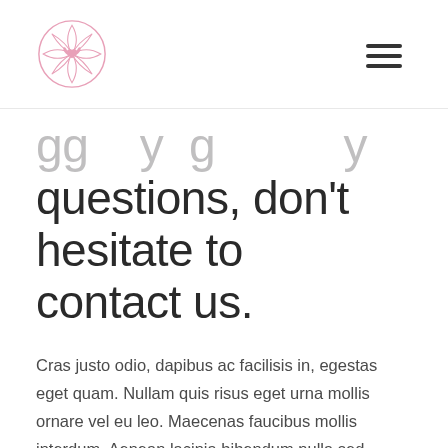[Figure (logo): Circular pink logo with heart and camera aperture/lens design]
questions, don't hesitate to contact us.
Cras justo odio, dapibus ac facilisis in, egestas eget quam. Nullam quis risus eget urna mollis ornare vel eu leo. Maecenas faucibus mollis interdum. Aenean lacinia bibendum nulla sed consectetur.
GET STARTED
CONTACT US